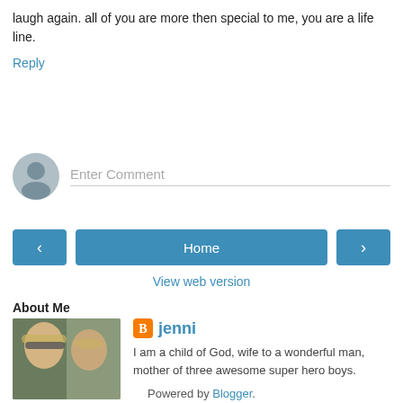laugh again. all of you are more then special to me, you are a life line.
Reply
[Figure (illustration): Comment input box with user avatar icon and Enter Comment placeholder text]
[Figure (infographic): Navigation buttons: left arrow, Home, right arrow]
View web version
About Me
[Figure (photo): Profile photo of two people, one with blonde hair and sunglasses]
jenni
I am a child of God, wife to a wonderful man, mother of three awesome super hero boys.
View my complete profile
Powered by Blogger.